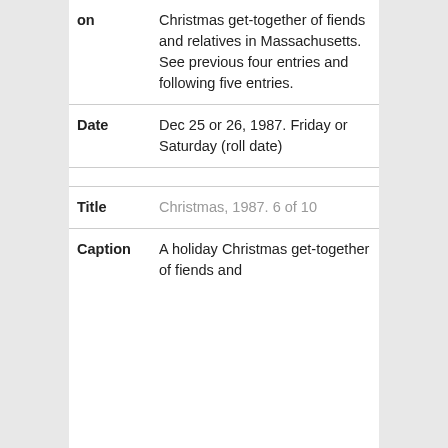| Field | Value |
| --- | --- |
| Caption (cont.) | Christmas get-together of fiends and relatives in Massachusetts. See previous four entries and following five entries. |
| Date | Dec 25 or 26, 1987. Friday or Saturday (roll date) |
| Title | Christmas, 1987. 6 of 10 |
| Caption | A holiday Christmas get-together of fiends and |